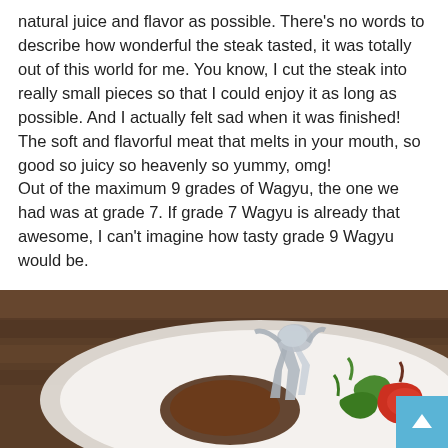natural juice and flavor as possible. There's no words to describe how wonderful the steak tasted, it was totally out of this world for me. You know, I cut the steak into really small pieces so that I could enjoy it as long as possible. And I actually felt sad when it was finished! The soft and flavorful meat that melts in your mouth, so good so juicy so heavenly so yummy, omg!
Out of the maximum 9 grades of Wagyu, the one we had was at grade 7. If grade 7 Wagyu is already that awesome, I can't imagine how tasty grade 9 Wagyu would be.
[Figure (photo): Close-up food photo on a white plate showing a piece of Wagyu steak with foil decoration, green peppers/chili, and red tomato/pepper garnish on a wooden table background.]